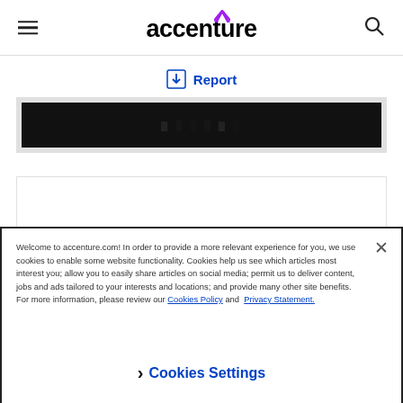accenture
Report
[Figure (screenshot): Black banner image strip with faint text, part of an Accenture report page]
[Figure (screenshot): White content card area, blank]
Welcome to accenture.com! In order to provide a more relevant experience for you, we use cookies to enable some website functionality. Cookies help us see which articles most interest you; allow you to easily share articles on social media; permit us to deliver content, jobs and ads tailored to your interests and locations; and provide many other site benefits. For more information, please review our Cookies Policy and Privacy Statement.
Cookies Settings